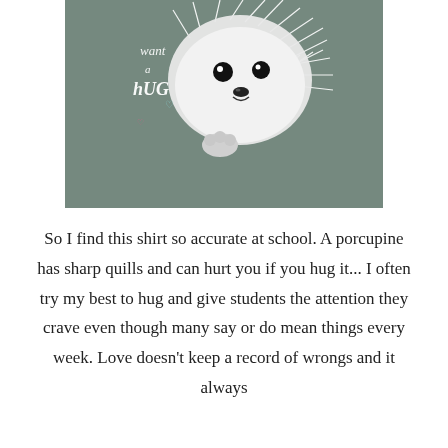[Figure (photo): Photo of a gray t-shirt with a printed illustration of a porcupine/hedgehog and text reading 'want a hug' in white script lettering with small hearts]
So I find this shirt so accurate at school. A porcupine has sharp quills and can hurt you if you hug it... I often try my best to hug and give students the attention they crave even though many say or do mean things every week. Love doesn't keep a record of wrongs and it always